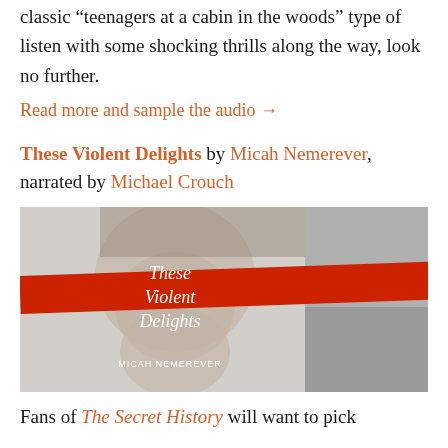classic “teenagers at a cabin in the woods” type of listen with some shocking thrills along the way, look no further.
Read more and sample the audio →
These Violent Delights by Micah Nemerever, narrated by Michael Crouch
[Figure (photo): Book cover of 'These Violent Delights' by Micah Nemerever showing a blurred face of a man with a red diagonal stripe across the eyes, with white text overlaid reading the book title and author name.]
Fans of The Secret History will want to pick